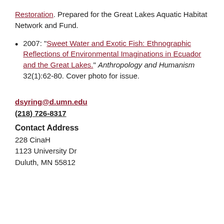Restoration. Prepared for the Great Lakes Aquatic Habitat Network and Fund.
2007: “Sweet Water and Exotic Fish: Ethnographic Reflections of Environmental Imaginations in Ecuador and the Great Lakes.” Anthropology and Humanism 32(1):62-80. Cover photo for issue.
dsyring@d.umn.edu
(218) 726-8317
Contact Address
228 CinaH
1123 University Dr
Duluth, MN 55812